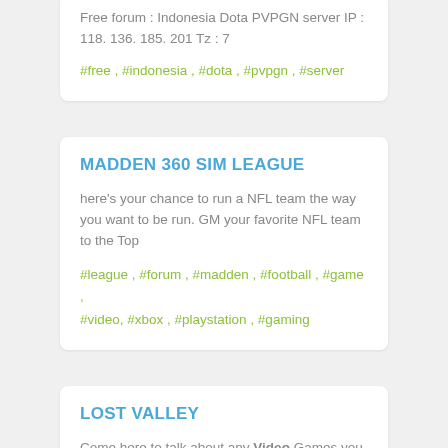Free forum : Indonesia Dota PVPGN server IP : 118. 136. 185. 201 Tz : 7
#free , #indonesia , #dota , #pvpgn , #server
MADDEN 360 SIM LEAGUE
here's your chance to run a NFL team the way you want to be run. GM your favorite NFL team to the Top
#league , #forum , #madden , #football , #game , #video, #xbox , #playstation , #gaming
LOST VALLEY
Come here to talk about any Video Games you want! We hope you decide to join our community and encourage you to be active for tips, tricks, and notes on almost every video game!!!
#nintendo , #microsoft , #sony , #xbox360 , #xbox